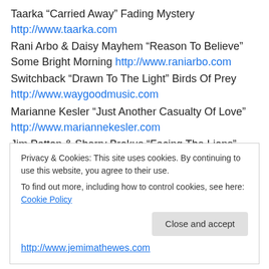Taarka “Carried Away” Fading Mystery http://www.taarka.com
Rani Arbo & Daisy Mayhem “Reason To Believe” Some Bright Morning http://www.raniarbo.com
Switchback “Drawn To The Light” Birds Of Prey http://www.waygoodmusic.com
Marianne Kesler “Just Another Casualty Of Love” http://www.mariannekesler.com
Jim Patton & Sherry Brokus “Facing The Lions” Going The Distance edgecitytx.com
Jemima Thewes “Fragile Flower” Calling
Privacy & Cookies: This site uses cookies. By continuing to use this website, you agree to their use. To find out more, including how to control cookies, see here: Cookie Policy
Close and accept
http://www.jemimathewes.com